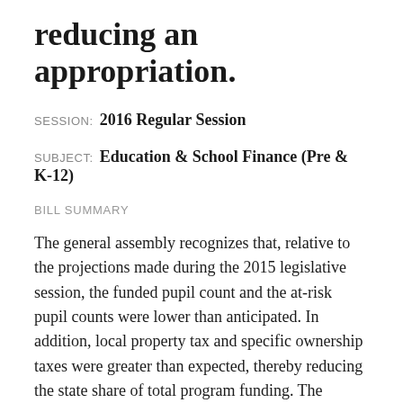reducing an appropriation.
SESSION: 2016 Regular Session
SUBJECT: Education & School Finance (Pre & K-12)
BILL SUMMARY
The general assembly recognizes that, relative to the projections made during the 2015 legislative session, the funded pupil count and the at-risk pupil counts were lower than anticipated. In addition, local property tax and specific ownership taxes were greater than expected, thereby reducing the state share of total program funding. The reduction in the funded pupil count and at-risk pupil counts enabled the general assembly to reduce the dollar amount of the appropriation. Due to a reduction in the dollar amount of